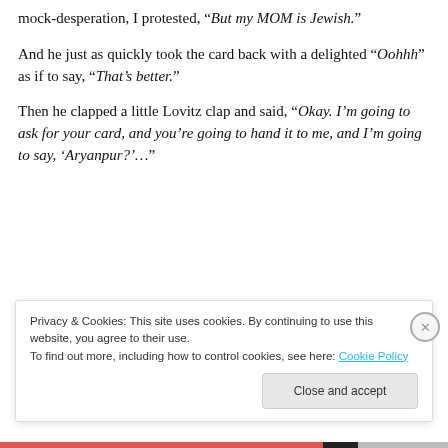mock-desperation, I protested, “But my MOM is Jewish.”
And he just as quickly took the card back with a delighted “Oohhh” as if to say, “That’s better.”
Then he clapped a little Lovitz clap and said, “Okay. I’m going to ask for your card, and you’re going to hand it to me, and I’m going to say, ‘Aryanpur?’…”
[Figure (screenshot): Blue advertisement banner with photo grid on left showing beach/palm tree images with '05' labels, and 'for life' text on right]
Privacy & Cookies: This site uses cookies. By continuing to use this website, you agree to their use.
To find out more, including how to control cookies, see here: Cookie Policy
Close and accept